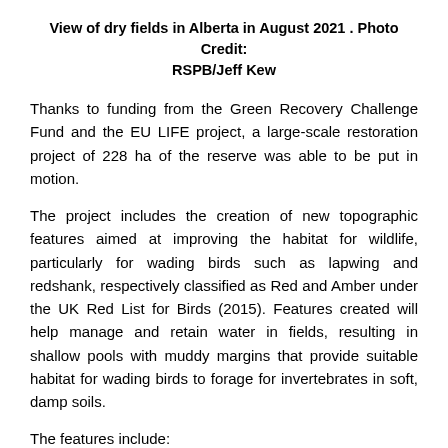View of dry fields in Alberta in August 2021 . Photo Credit: RSPB/Jeff Kew
Thanks to funding from the Green Recovery Challenge Fund and the EU LIFE project, a large-scale restoration project of 228 ha of the reserve was able to be put in motion.
The project includes the creation of new topographic features aimed at improving the habitat for wildlife, particularly for wading birds such as lapwing and redshank, respectively classified as Red and Amber under the UK Red List for Birds (2015). Features created will help manage and retain water in fields, resulting in shallow pools with muddy margins that provide suitable habitat for wading birds to forage for invertebrates in soft, damp soils.
The features include: